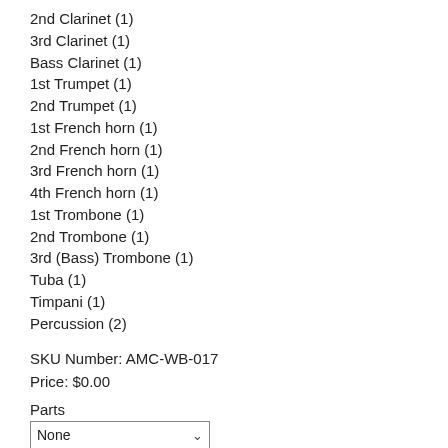2nd Clarinet (1)
3rd Clarinet (1)
Bass Clarinet (1)
1st Trumpet (1)
2nd Trumpet (1)
1st French horn (1)
2nd French horn (1)
3rd French horn (1)
4th French horn (1)
1st Trombone (1)
2nd Trombone (1)
3rd (Bass) Trombone (1)
Tuba (1)
Timpani (1)
Percussion (2)
SKU Number: AMC-WB-017
Price: $0.00
Parts
None
Quantity: 1  Buy